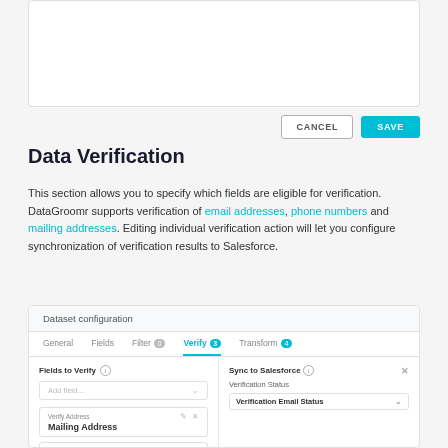[Figure (screenshot): Top white card/panel (partially visible, empty content area)]
CANCEL
SAVE
Data Verification
This section allows you to specify which fields are eligible for verification. DataGroomr supports verification of email addresses, phone numbers and mailing addresses. Editing individual verification action will let you configure synchronization of verification results to Salesforce.
Dataset configuration
[Figure (screenshot): Dataset configuration panel with tabs: General, Fields, Filter, Verify (active, teal), Transform. Fields to Verify section with Add field dropdown, Verify Address / Mailing Address entry, Verify Phone / Business Phone entry. Sync to Salesforce panel with Verification Status and Verification Email Status dropdown. Teal chat bubble in bottom right.]